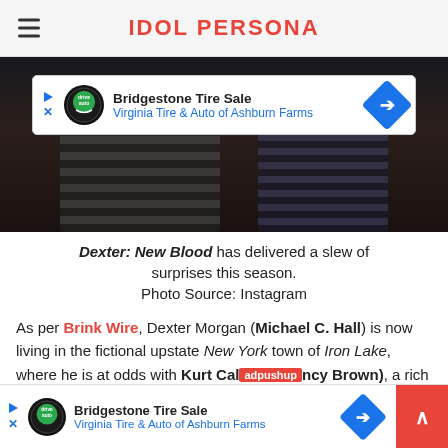IDOL PERSONA
[Figure (photo): Two people in dark clothing, photo with an overlaid advertisement for Bridgestone Tire Sale – Virginia Tire & Auto of Ashburn Farms]
Dexter: New Blood has delivered a slew of surprises this season.
Photo Source: Instagram
As per Brink Wire, Dexter Morgan (Michael C. Hall) is now living in the fictional upstate New York town of Iron Lake, where he is at odds with Kurt Caldwell (Clancy Brown), a rich businessman with a local legacy. Dexter: New Blood...
[Figure (screenshot): Bottom advertisement overlay: adpushup badge, Bridgestone Tire Sale – Virginia Tire & Auto of Ashburn Farms, with a scroll-to-top button]